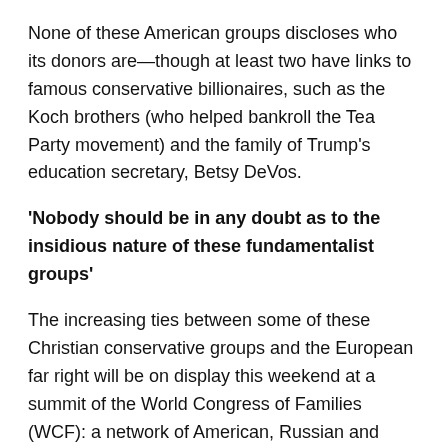None of these American groups discloses who its donors are—though at least two have links to famous conservative billionaires, such as the Koch brothers (who helped bankroll the Tea Party movement) and the family of Trump's education secretary, Betsy DeVos.
'Nobody should be in any doubt as to the insidious nature of these fundamentalist groups'
The increasing ties between some of these Christian conservative groups and the European far right will be on display this weekend at a summit of the World Congress of Families (WCF): a network of American, Russian and other ultra-conservative activists.
Right-wing politicians and their supporters from across Europe are expected to attend the event in Verona, Italy—including the